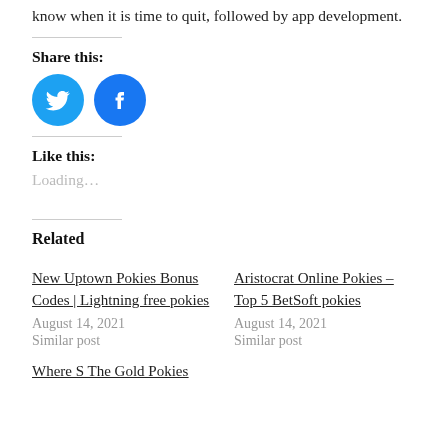know when it is time to quit, followed by app development.
Share this:
[Figure (other): Twitter and Facebook share buttons as circular icons]
Like this:
Loading…
Related
New Uptown Pokies Bonus Codes | Lightning free pokies
August 14, 2021
Similar post
Aristocrat Online Pokies – Top 5 BetSoft pokies
August 14, 2021
Similar post
Where S The Gold Pokies